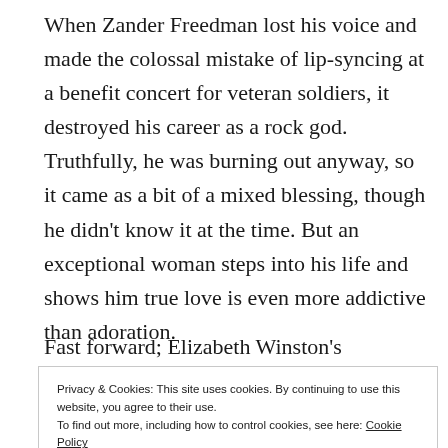When Zander Freedman lost his voice and made the colossal mistake of lip-syncing at a benefit concert for veteran soldiers, it destroyed his career as a rock god. Truthfully, he was burning out anyway, so it came as a bit of a mixed blessing, though he didn't know it at the time. But an exceptional woman steps into his life and shows him true love is even more addictive than adoration.
Fast forward; Elizabeth Winston's determination to
Privacy & Cookies: This site uses cookies. By continuing to use this website, you agree to their use.
To find out more, including how to control cookies, see here: Cookie Policy